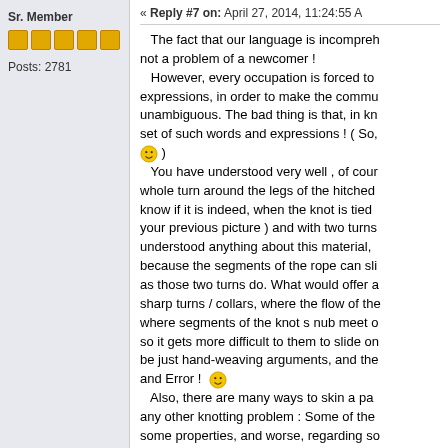Sr. Member
Posts: 2781
« Reply #7 on: April 27, 2014, 11:24:55 A
The fact that our language is incomprehensible not a problem of a newcomer ! However, every occupation is forced to expressions, in order to make the communication unambiguous. The bad thing is that, in knot set of such words and expressions ! ( So, 😊 ) You have understood very well , of course whole turn around the legs of the hitched know if it is indeed, when the knot is tied your previous picture ) and with two turns understood anything about this material, because the segments of the rope can slide as those two turns do. What would offer sharp turns / collars, where the flow of the where segments of the knot s nub meet so it gets more difficult to them to slide on be just hand-weaving arguments, and the and Error ! 😊 Also, there are many ways to skin a par any other knotting problem : Some of them some properties, and worse, regarding so happens too often, alas ! ) to have more equivalent efficiency, and to not know whi